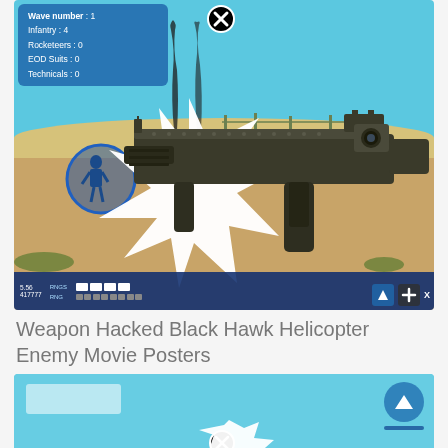[Figure (screenshot): Video game screenshot showing a first-person shooter set in a desert environment. HUD overlay in top-left shows wave info (Wave number: 1, Infantry: 4, Rocketeers: 0, EOD Suits: 0, Technicals: 0). A close (X) button is near top-center. The view shows sandy desert terrain, sky, smoke columns, a target circle with a soldier icon, a large white muzzle flash, and a detailed assault rifle in first-person view. Bottom HUD bar shows ammo/health bars and icons.]
Weapon Hacked Black Hawk Helicopter Enemy Movie Posters
[Figure (screenshot): Partial second screenshot of the same video game, showing the top portion with cyan/teal sky background, a white rectangular placeholder box at top-left, a circular X close button in the center-bottom area of the visible portion, an upward arrow button at top-right, and the beginning of a muzzle flash at the bottom.]